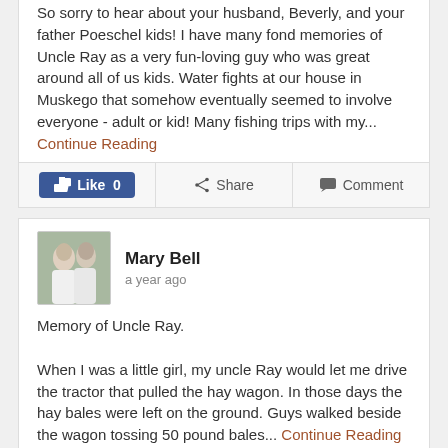So sorry to hear about your husband, Beverly, and your father Poeschel kids! I have many fond memories of Uncle Ray as a very fun-loving guy who was great around all of us kids. Water fights at our house in Muskego that somehow eventually seemed to involve everyone - adult or kid! Many fishing trips with my... Continue Reading
Mary Bell
a year ago
Memory of Uncle Ray.

When I was a little girl, my uncle Ray would let me drive the tractor that pulled the hay wagon. In those days the hay bales were left on the ground. Guys walked beside the wagon tossing 50 pound bales... Continue Reading